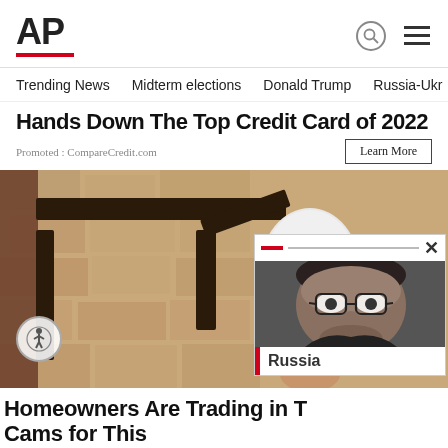AP
Trending News  Midterm elections  Donald Trump  Russia-Ukr
Hands Down The Top Credit Card of 2022
Promoted : CompareCredit.com
[Figure (photo): Security camera shaped like a light bulb mounted on a wall bracket outdoors on a stone/stucco wall]
[Figure (photo): Overlay popup showing a man's face with glasses and a red-accented AP header bar and 'Russia' label]
Homeowners Are Trading in Their Cams for This